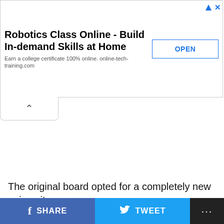[Figure (screenshot): Advertisement banner: 'Robotics Class Online - Build In-demand Skills at Home. Earn a college certificate 100% online. online-tech-training.com' with an OPEN button and ad icons in corner.]
The original board opted for a completely new university
SHARE   TWEET   ...